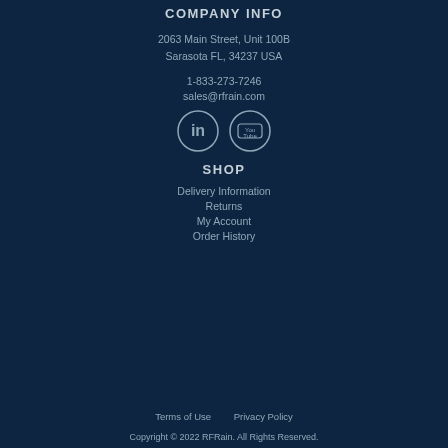COMPANY INFO
2063 Main Street, Unit 100B
Sarasota FL, 34237 USA
1-833-273-7246
sales@rfrain.com
[Figure (logo): LinkedIn and YouTube social media icons in circles]
SHOP
Delivery Information
Returns
My Account
Order History
Terms of Use   Privacy Policy
Copyright © 2022 RFRain. All Rights Reserved.